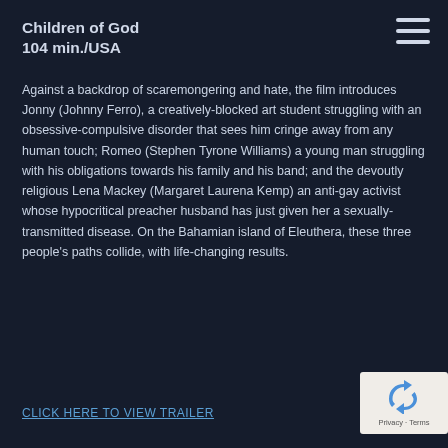Children of God
104 min./USA
Against a backdrop of scaremongering and hate, the film introduces Jonny (Johnny Ferro), a creatively-blocked art student struggling with an obsessive-compulsive disorder that sees him cringe away from any human touch; Romeo (Stephen Tyrone Williams) a young man struggling with his obligations towards his family and his band; and the devoutly religious Lena Mackey (Margaret Laurena Kemp) an anti-gay activist whose hypocritical preacher husband has just given her a sexually-transmitted disease. On the Bahamian island of Eleuthera, these three people’s paths collide, with life-changing results.
CLICK HERE TO VIEW TRAILER
[Figure (other): reCAPTCHA widget showing recycled arrows logo with Privacy - Terms text]